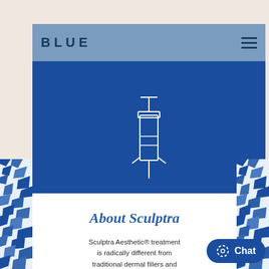BLUE
[Figure (illustration): Syringe/needle icon drawn in white outline on a dark blue background, tilted diagonally]
[Figure (illustration): Blue and white terrazzo/mosaic pattern on left and right side borders]
About Sculptra
Sculptra Aesthetic® treatment is radically different from traditional dermal fillers and
Chat